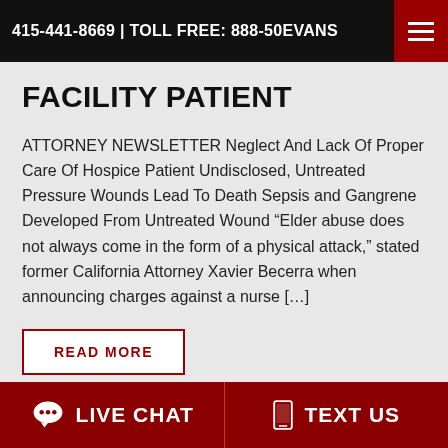415-441-8669 | TOLL FREE: 888-50EVANS
FACILITY PATIENT
ATTORNEY NEWSLETTER Neglect And Lack Of Proper Care Of Hospice Patient Undisclosed, Untreated Pressure Wounds Lead To Death Sepsis and Gangrene Developed From Untreated Wound “Elder abuse does not always come in the form of a physical attack,” stated former California Attorney Xavier Becerra when announcing charges against a nurse […]
READ MORE
LIVE CHAT   TEXT US